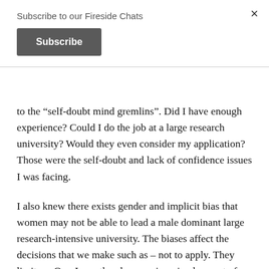Subscribe to our Fireside Chats
Subscribe
to the “self-doubt mind gremlins”.  Did I have enough experience? Could I do the job at a large research university?  Would they even consider my application? Those were the self-doubt and lack of confidence issues I was facing.
I also knew there exists gender and implicit bias that women may not be able to lead a male dominant large research-intensive university.  The biases affect the decisions that we make such as – not to apply.  They limit us. Or a I say, they become ingrained as part of our limiting belief systems.